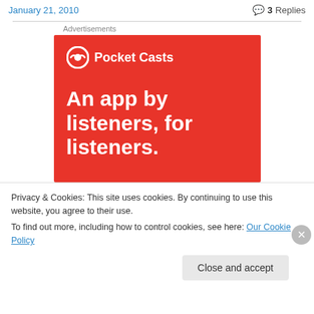January 21, 2010
3 Replies
Advertisements
[Figure (illustration): Pocket Casts advertisement on red background with logo and text: 'An app by listeners, for listeners.']
Privacy & Cookies: This site uses cookies. By continuing to use this website, you agree to their use.
To find out more, including how to control cookies, see here: Our Cookie Policy
Close and accept